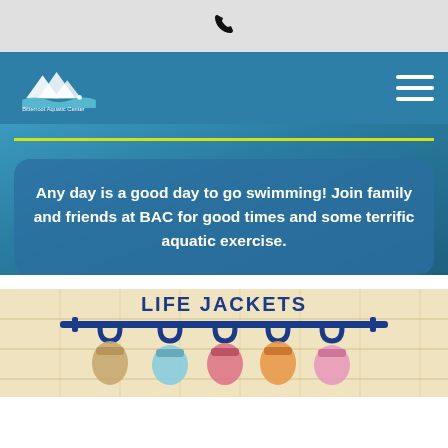☎ (phone icon)
[Figure (logo): Bitterroot Aquatic Center logo with mountain/wave graphic and text 'Bitterroot Aquatic Center']
Any day is a good day to go swimming! Join family and friends at BAC for good times and some terrific aquatic exercise.
[Figure (photo): Life jackets hanging on a rack mounted to a beige tile wall, with text 'LIFE JACKETS' above the rack. Colorful life jackets hanging from hooks.]